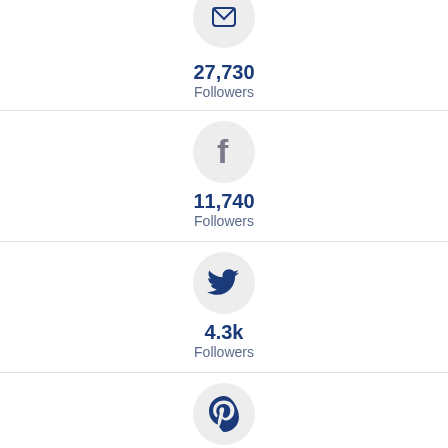[Figure (infographic): Social media icon (email/LinkedIn-like) in grey circle, partial top]
27,730
Followers
[Figure (infographic): Facebook icon in grey circle]
11,740
Followers
[Figure (infographic): Twitter bird icon in grey circle]
4.3k
Followers
[Figure (infographic): Pinterest icon in grey circle]
2.2k
Followers
[Figure (infographic): LinkedIn icon in grey circle]
824
Followers (partial)